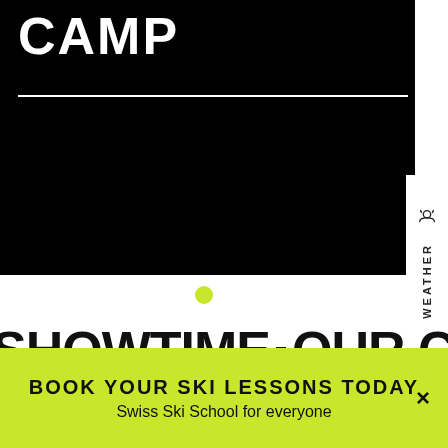CAMP
[Figure (screenshot): Black background section with white horizontal divider line, partially cropped website screenshot]
WEATHER
SHOWTIME ▪ OUR CLUB MERCH
TOP
BOOK YOUR SKI LESSONS TODAY
Swiss Ski School for everyone